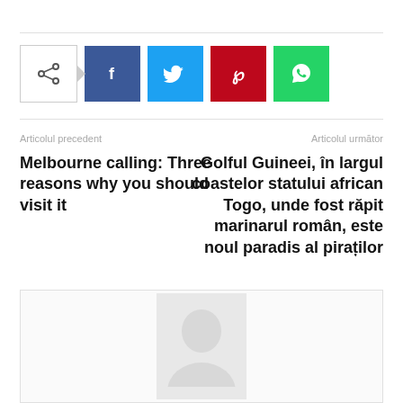[Figure (infographic): Share bar with native share button and social media icons: Facebook (blue), Twitter (cyan), Pinterest (red), WhatsApp (green)]
Articolul precedent
Melbourne calling: Three reasons why you should visit it
Articolul următor
Golful Guineei, în largul coastelor statului african Togo, unde fost răpit marinarul român, este noul paradis al piraților
[Figure (photo): Author avatar placeholder box with a person silhouette icon in gray]